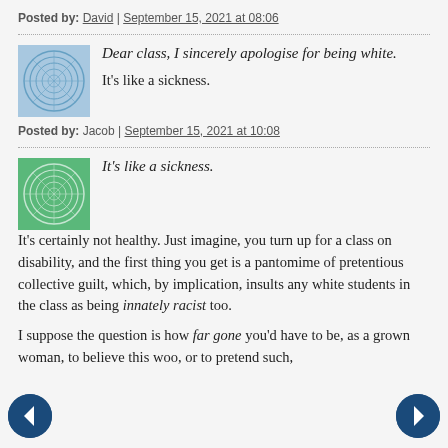Posted by: David | September 15, 2021 at 08:06
Dear class, I sincerely apologise for being white.

It's like a sickness.
Posted by: Jacob | September 15, 2021 at 10:08
It's like a sickness.

It's certainly not healthy. Just imagine, you turn up for a class on disability, and the first thing you get is a pantomime of pretentious collective guilt, which, by implication, insults any white students in the class as being innately racist too.

I suppose the question is how far gone you'd have to be, as a grown woman, to believe this woo, or to pretend such,